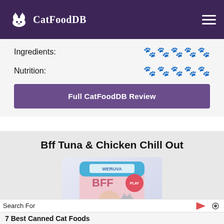[Figure (logo): CatFoodDB logo with cat icon on purple header background]
Ingredients:
[Figure (infographic): 4.5 out of 5 paw rating icons for Ingredients]
Nutrition:
[Figure (infographic): 5 out of 5 paw rating icons for Nutrition]
Full CatFoodDB Review
Bff Tuna & Chicken Chill Out
[Figure (photo): Product image of Bff Tuna & Chicken Chill Out cat food pouch by Weruva]
Search For
7 Best Canned Cat Foods